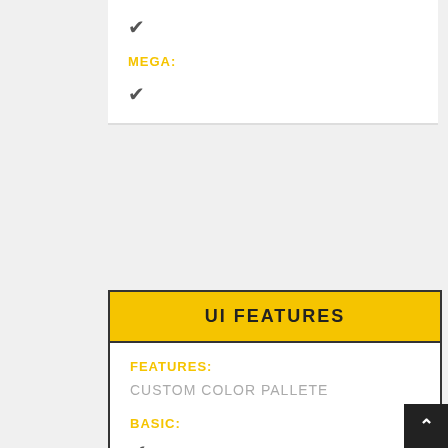✔
MEGA:
✔
UI FEATURES
FEATURES:
CUSTOM COLOR PALLETE
BASIC:
✔
STANDARD:
✔
PRO: